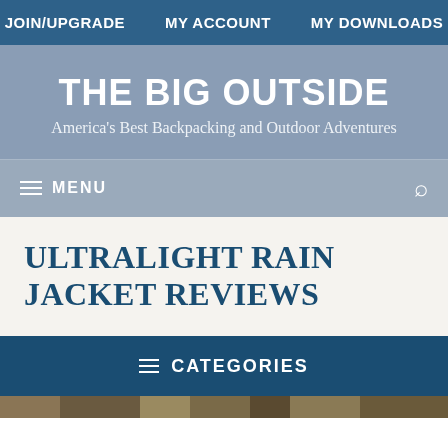JOIN/UPGRADE   MY ACCOUNT   MY DOWNLOADS
THE BIG OUTSIDE
America's Best Backpacking and Outdoor Adventures
≡ MENU
ULTRALIGHT RAIN JACKET REVIEWS
≡ CATEGORIES
[Figure (photo): Outdoor nature photo strip at bottom of page]